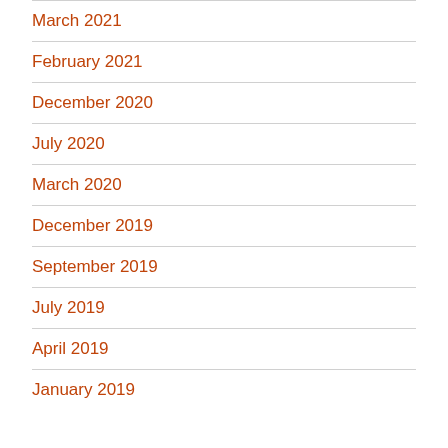March 2021
February 2021
December 2020
July 2020
March 2020
December 2019
September 2019
July 2019
April 2019
January 2019